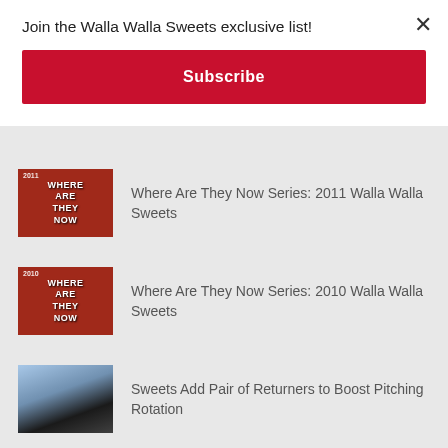Join the Walla Walla Sweets exclusive list!
Subscribe
Where Are They Now Series: 2011 Walla Walla Sweets
Where Are They Now Series: 2010 Walla Walla Sweets
Sweets Add Pair of Returners to Boost Pitching Rotation
Sweets Begin Re-Signings for 2021
Walla Walla Sweets Announce 2021